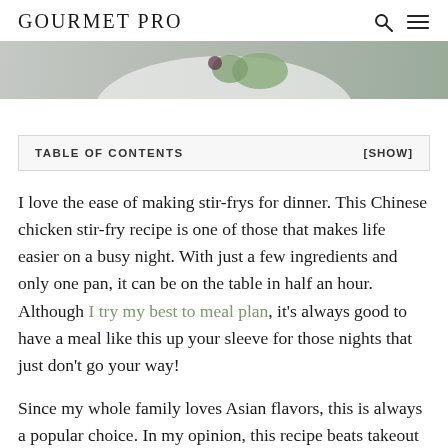GOURMET PRO
[Figure (photo): Close-up photo of a dish with green vegetables and white plate, partially cropped]
| TABLE OF CONTENTS | [SHOW] |
| --- | --- |
I love the ease of making stir-frys for dinner. This Chinese chicken stir-fry recipe is one of those that makes life easier on a busy night. With just a few ingredients and only one pan, it can be on the table in half an hour. Although I try my best to meal plan, it's always good to have a meal like this up your sleeve for those nights that just don't go your way!
Since my whole family loves Asian flavors, this is always a popular choice. In my opinion, this recipe beats takeout any night.